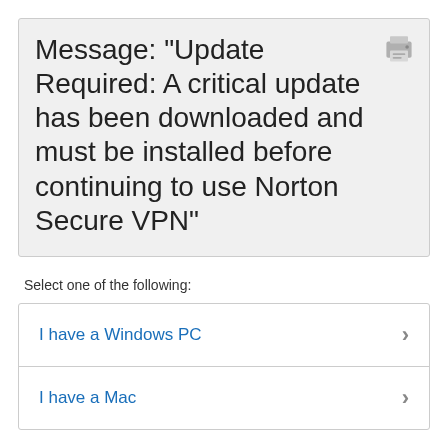Message: "Update Required: A critical update has been downloaded and must be installed before continuing to use Norton Secure VPN"
Select one of the following:
I have a Windows PC
I have a Mac
I found this information helpful.